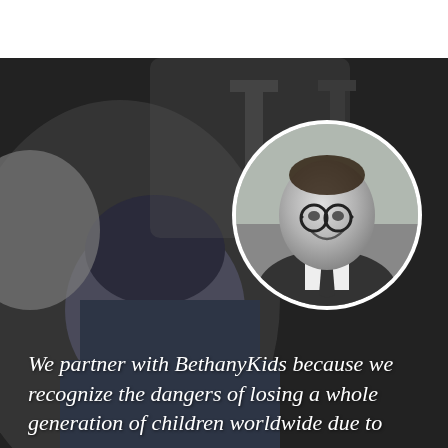[Figure (photo): Background photo showing two children in dark winter clothing and hats, dark grey/black tones, slightly blurred. A circular black-and-white portrait photo overlay in the upper-right area shows a smiling man wearing glasses, a suit, shirt and tie.]
We partner with BethanyKids because we recognize the dangers of losing a whole generation of children worldwide due to